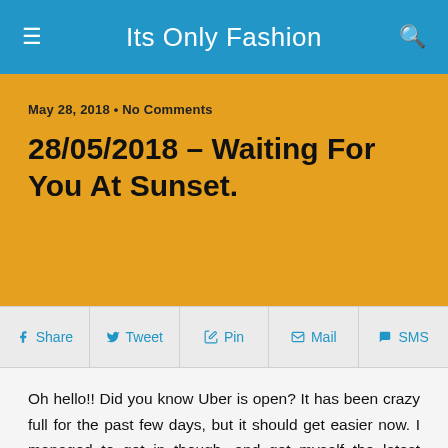Its Only Fashion
May 28, 2018 • No Comments
28/05/2018 – Waiting For You At Sunset.
Share  Tweet  Pin  Mail  SMS
Oh hello!! Did you know Uber is open? It has been crazy full for the past few days, but it should get easier now. I managed to get in though, and got myself the latest wonder from Truth, as well as that gorgeous top from Teefy. It's sexier than what I usually wear, but somehow it feels classy on me. I covered my bosom a bit though, with a lovely necklace